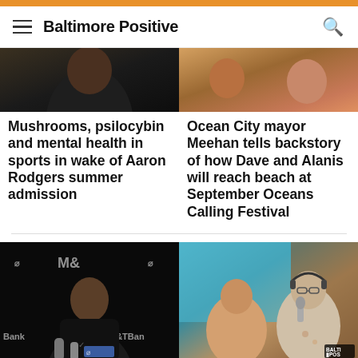Baltimore Positive
[Figure (photo): Cropped top of article image, dark tones]
Mushrooms, psilocybin and mental health in sports in wake of Aaron Rodgers summer admission
[Figure (photo): Cropped top of article image, warm tones]
Ocean City mayor Meehan tells backstory of how Dave and Alanis will reach beach at September Oceans Calling Festival
[Figure (photo): NFL player at M&T Bank press conference with microphones]
[Figure (photo): Two people in a studio setting with BALTI POS badge visible]
The ability of…
When a…